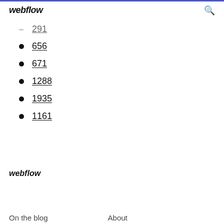webflow
291
656
671
1288
1935
1161
webflow  On the blog  About